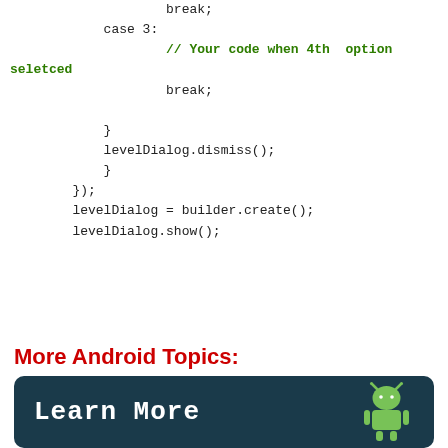break;
case 3:
    // Your code when 4th option seletced
    break;
}
levelDialog.dismiss();
}
});
levelDialog = builder.create();
levelDialog.show();
More Android Topics:
[Figure (illustration): Dark rounded rectangle banner with 'Learn More' text in white monospace font and Android robot logo on the right]